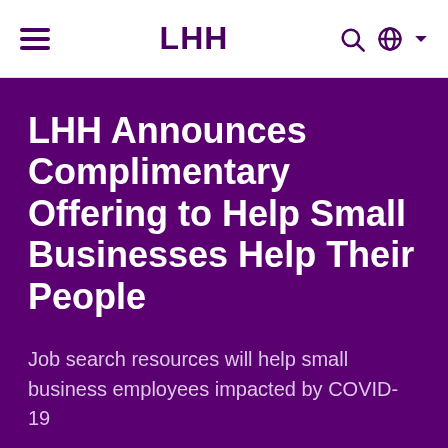LHH
LHH Announces Complimentary Offering to Help Small Businesses Help Their People
Job search resources will help small business employees impacted by COVID-19